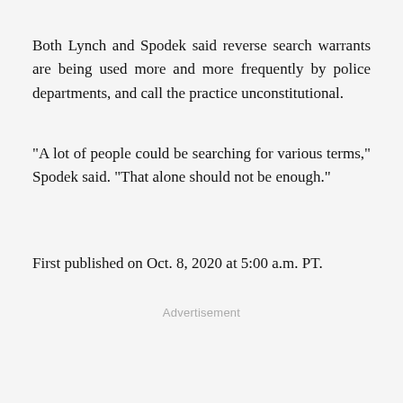Both Lynch and Spodek said reverse search warrants are being used more and more frequently by police departments, and call the practice unconstitutional.
"A lot of people could be searching for various terms," Spodek said. "That alone should not be enough."
First published on Oct. 8, 2020 at 5:00 a.m. PT.
Advertisement